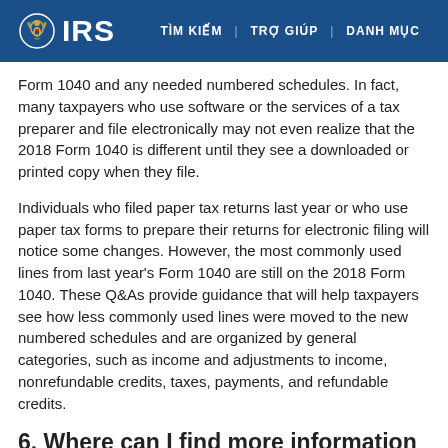IRS | TÌM KIẾM | TRỢ GIÚP | DANH MỤC
Form 1040 and any needed numbered schedules. In fact, many taxpayers who use software or the services of a tax preparer and file electronically may not even realize that the 2018 Form 1040 is different until they see a downloaded or printed copy when they file.
Individuals who filed paper tax returns last year or who use paper tax forms to prepare their returns for electronic filing will notice some changes. However, the most commonly used lines from last year's Form 1040 are still on the 2018 Form 1040. These Q&As provide guidance that will help taxpayers see how less commonly used lines were moved to the new numbered schedules and are organized by general categories, such as income and adjustments to income, nonrefundable credits, taxes, payments, and refundable credits.
6. Where can I find more information about the new schedules and the types of information are reported on them?